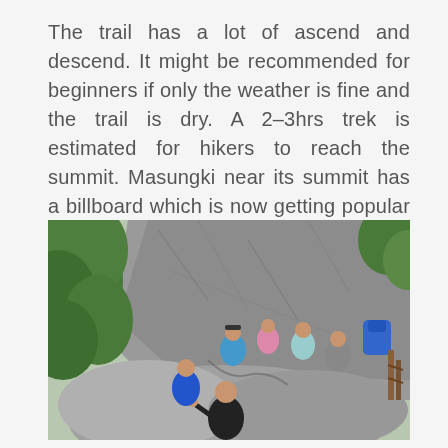The trail has a lot of ascend and descend. It might be recommended for beginners if only the weather is fine and the trail is dry. A 2–3hrs trek is estimated for hikers to reach the summit. Masungki near its summit has a billboard which is now getting popular to the mountaineering community. It offers a scenic view of the Sierra Madre mountains.
[Figure (photo): Group of hikers posing on large rocky boulders surrounded by lush green trees. One person in a black shirt gives a thumbs up in the foreground, a woman in blue is behind, and several others are seated on the rocks against a large grey cliff face. A blue backpack is visible on the right side of the rock.]